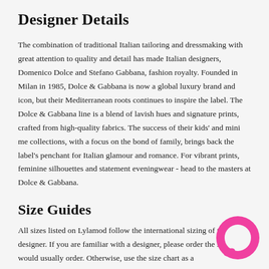Designer Details
The combination of traditional Italian tailoring and dressmaking with great attention to quality and detail has made Italian designers, Domenico Dolce and Stefano Gabbana, fashion royalty. Founded in Milan in 1985, Dolce & Gabbana is now a global luxury brand and icon, but their Mediterranean roots continues to inspire the label. The Dolce & Gabbana line is a blend of lavish hues and signature prints, crafted from high-quality fabrics. The success of their kids' and mini me collections, with a focus on the bond of family, brings back the label's penchant for Italian glamour and romance. For vibrant prints, feminine silhouettes and statement eveningwear - head to the masters at Dolce & Gabbana.
Size Guides
All sizes listed on Lylamod follow the international sizing of the designer. If you are familiar with a designer, please order the size you would usually order. Otherwise, use the size chart as a
[Figure (illustration): Pink circular chat bubble icon in bottom right corner]